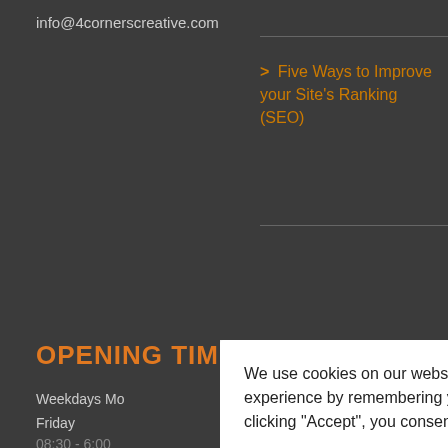info@4cornerscreative.com
> Five Ways to Improve your Site's Ranking (SEO)
OPENING TIMES
Weekdays Mo[nday -]
Friday
08:30 - 6:00
Weekends Sa[turday -]
Sunday
Closed
We use cookies on our website to give you the most relevant experience by remembering your preferences and repeat visits. By clicking “Accept”, you consent to the use of ALL the cookies.
Do not sell my personal information.
Cookie Settings
Accept